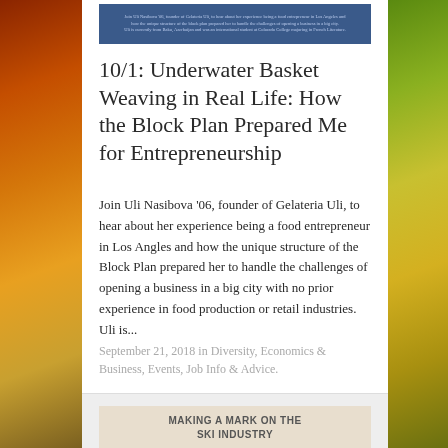[Figure (photo): Small banner image at top with blue background and light text, appearing to show a person and some text about an entrepreneur in Los Angeles]
10/1: Underwater Basket Weaving in Real Life: How the Block Plan Prepared Me for Entrepreneurship
Join Uli Nasibova '06, founder of Gelateria Uli, to hear about her experience being a food entrepreneur in Los Angles and how the unique structure of the Block Plan prepared her to handle the challenges of opening a business in a big city with no prior experience in food production or retail industries. Uli is...
September 21, 2018 in Diversity, Economics & Business, Events, Job Info & Advice.
[Figure (illustration): Beige/tan card with bold uppercase text reading MAKING A MARK ON THE SKI INDUSTRY]